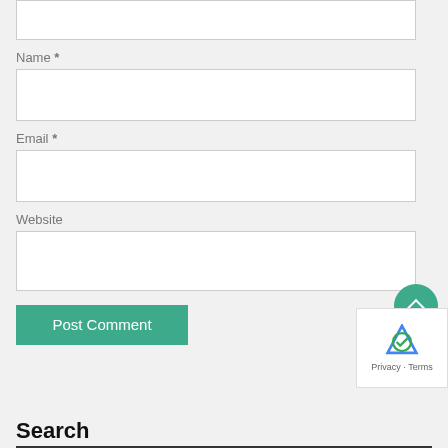[Figure (screenshot): Top portion of a comment form textarea (white input box, partially visible at top)]
Name *
[Figure (screenshot): Name input field (white text box)]
Email *
[Figure (screenshot): Email input field (white text box)]
Website
[Figure (screenshot): Website input field (white text box)]
Post Comment
Search